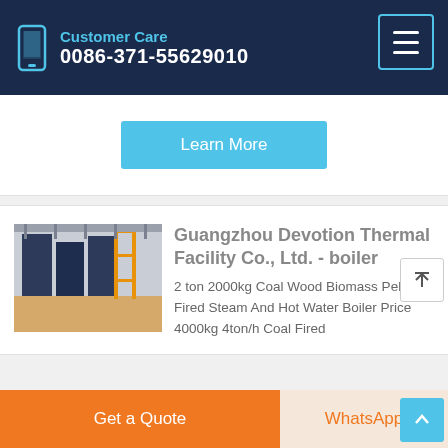Customer Care
0086-371-55629010
Learn More
Guangzhou Devotion Thermal Facility Co., Ltd. - boiler
2 ton 2000kg Coal Wood Biomass Pellet Fired Steam And Hot Water Boiler Price 4000kg 4ton/h Coal Fired
Get a Quote
WhatsApp